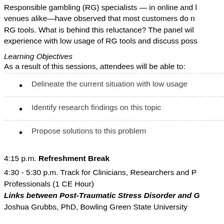Responsible gambling (RG) specialists — in online and land-based venues alike—have observed that most customers do not use available RG tools. What is behind this reluctance? The panel will share experience with low usage of RG tools and discuss poss...
Learning Objectives
As a result of this sessions, attendees will be able to:
Delineate the current situation with low usage
Identify research findings on this topic
Propose solutions to this problem
4:15 p.m. Refreshment Break
4:30 - 5:30 p.m. Track for Clinicians, Researchers and Professionals (1 CE Hour)
Links between Post-Traumatic Stress Disorder and G...
Joshua Grubbs, PhD, Bowling Green State University